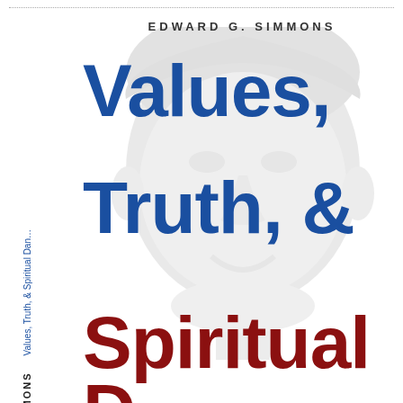[Figure (illustration): Faded grayscale illustration of a man's face as background watermark on book cover]
SIMMONS   Values, Truth, & Spiritual Dan…
EDWARD G. SIMMONS
Values, Truth, & Spiritual